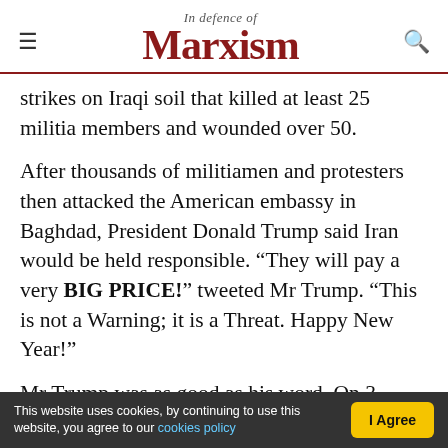In Defence of Marxism
strikes on Iraqi soil that killed at least 25 militia members and wounded over 50.
After thousands of militiamen and protesters then attacked the American embassy in Baghdad, President Donald Trump said Iran would be held responsible. “They will pay a very BIG PRICE!” tweeted Mr Trump. “This is not a Warning; it is a Threat. Happy New Year!”
Mr Trump was as good as his word. On 3 January, he issued the order for the assassination of the Iranian general Qasem Soleimani by a drone strike
This website uses cookies, by continuing to use this website, you agree to our cookies policy | I Agree